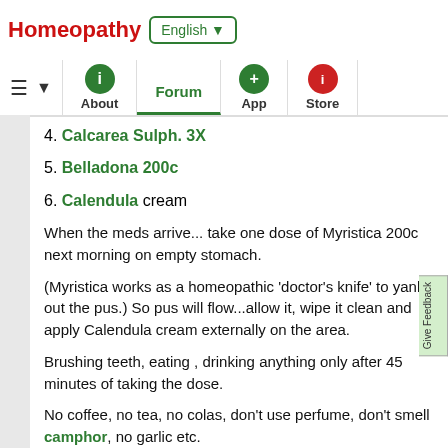Homeopathy | English ▼
≡ ▼ | About | Forum | App | Store
4. Calcarea Sulph. 3X
5. Belladona 200c
6. Calendula cream
When the meds arrive... take one dose of Myristica 200c next morning on empty stomach.
(Myristica works as a homeopathic 'doctor's knife' to yank out the pus.) So pus will flow...allow it, wipe it clean and apply Calendula cream externally on the area.
Brushing teeth, eating , drinking anything only after 45 minutes of taking the dose.
No coffee, no tea, no colas, don't use perfume, don't smell camphor, no garlic etc.
Watch progress with that dose for next 72 hours and after that post feed back here.